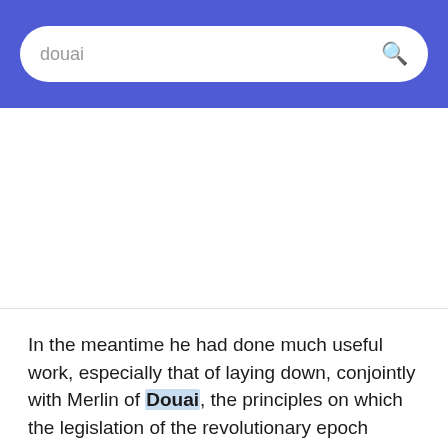[Figure (screenshot): Search bar with text 'douai' and a magnifying glass icon on a blue/indigo background header]
In the meantime he had done much useful work, especially that of laying down, conjointly with Merlin of Douai, the principles on which the legislation of the revolutionary epoch should be codified.